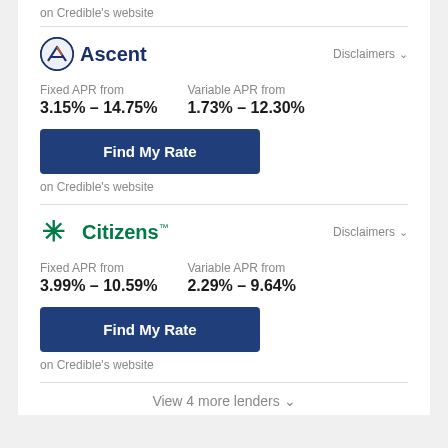on Credible's website
[Figure (logo): Ascent lender logo with circular icon and bold dark blue 'Ascent' text]
Disclaimers
Fixed APR from
3.15% - 14.75%
Variable APR from
1.73% - 12.30%
Find My Rate
on Credible's website
[Figure (logo): Citizens bank logo with green asterisk/snowflake icon and bold green 'Citizens' text]
Disclaimers
Fixed APR from
3.99% - 10.59%
Variable APR from
2.29% - 9.64%
Find My Rate
on Credible's website
View 4 more lenders